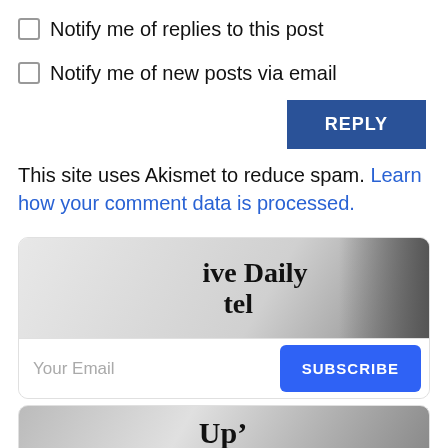Notify me of replies to this post
Notify me of new posts via email
REPLY
This site uses Akismet to reduce spam. Learn how your comment data is processed.
[Figure (screenshot): Newsletter signup widget with newspaper image showing 'ive Daily tel' text, email input field, and SUBSCRIBE button]
[Figure (screenshot): Partial newsletter image showing 'Up' text]
Social media icons: Facebook, Twitter, YouTube, LinkedIn, Reddit